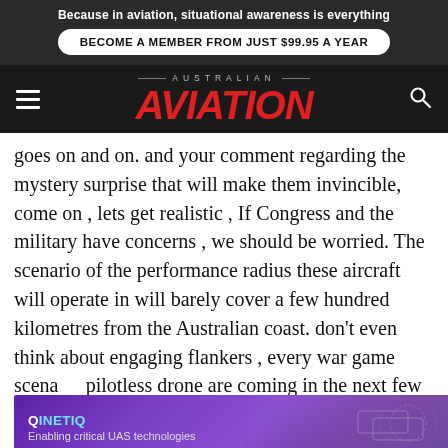Because in aviation, situational awareness is everything
BECOME A MEMBER FROM JUST $99.95 A YEAR
[Figure (logo): Australian Aviation magazine logo with red italic 'AVIATION' text and 'AUSTRALIAN' above in small grey caps, on dark background with hamburger menu and search icon]
goes on and on. and your comment regarding the mystery surprise that will make them invincible, come on , lets get realistic , If Congress and the military have concerns , we should be worried. The scenario of the performance radius these aircraft will operate in will barely cover a few hundred kilometres from the Australian coast. don't even think about engaging flankers , every war game scena… pilotless drone are coming in the next few years , wait
[Figure (screenshot): QinetiQ advertisement banner with purple gradient background reading 'Enabling critical UAS technologies']